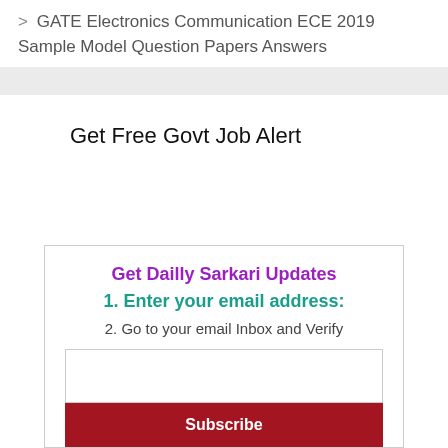> GATE Electronics Communication ECE 2019 Sample Model Question Papers Answers
Get Free Govt Job Alert
Get Dailly Sarkari Updates
1. Enter your email address:
2. Go to your email Inbox and Verify
Subscribe